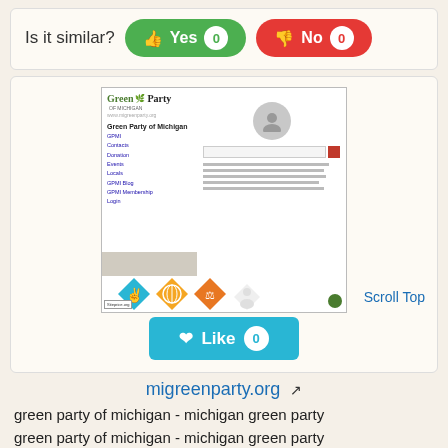Is it similar? Yes 0 No 0
[Figure (screenshot): Screenshot of migreenparty.org - Green Party of Michigan website showing logo, navigation links, user avatar, and colorful diamond icons]
Scroll Top
Like 0
migreenparty.org
green party of michigan - michigan green party
green party of michigan - michigan green party